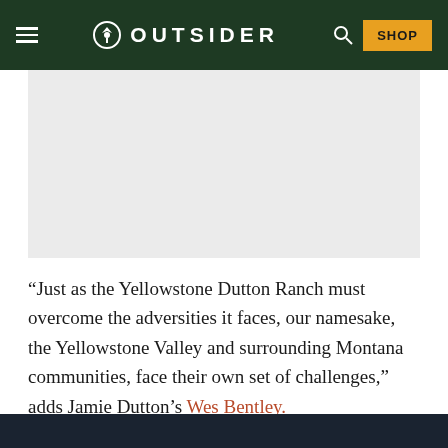OUTSIDER — SHOP
[Figure (photo): Gray placeholder image area beneath the header navigation]
“Just as the Yellowstone Dutton Ranch must overcome the adversities it faces, our namesake, the Yellowstone Valley and surrounding Montana communities, face their own set of challenges,” adds Jamie Dutton’s Wes Bentley.